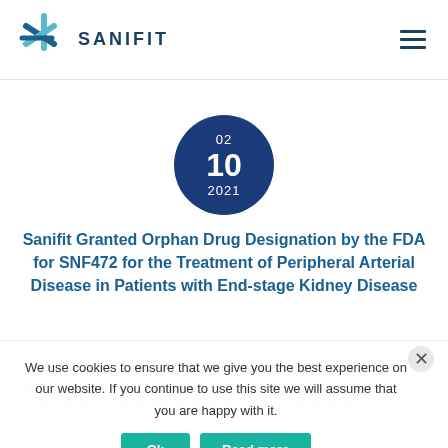SANIFIT
[Figure (other): Dark blue circular date badge showing 02 / 10 / 2021]
Sanifit Granted Orphan Drug Designation by the FDA for SNF472 for the Treatment of Peripheral Arterial Disease in Patients with End-stage Kidney Disease
Palma, Spain and San Diego, USA, February 10, 2021 – focused on developing treatments for calcification disorders, today announced U.S. Food and Drug Administration (FDA) has granted Orphan Drug
We use cookies to ensure that we give you the best experience on our website. If you continue to use this site we will assume that you are happy with it.